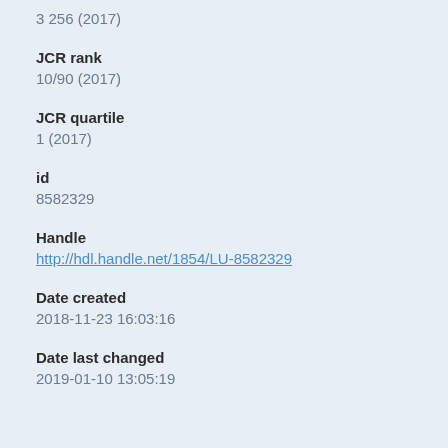3 256 (2017)
JCR rank
10/90 (2017)
JCR quartile
1 (2017)
id
8582329
Handle
http://hdl.handle.net/1854/LU-8582329
Date created
2018-11-23 16:03:16
Date last changed
2019-01-10 13:05:19